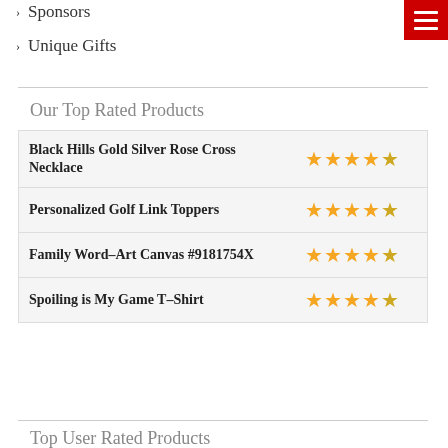Sponsors
Unique Gifts
Our Top Rated Products
| Product | Rating |
| --- | --- |
| Black Hills Gold Silver Rose Cross Necklace | ★★★★★ |
| Personalized Golf Link Toppers | ★★★★★ |
| Family Word–Art Canvas #9181754X | ★★★★★ |
| Spoiling is My Game T–Shirt | ★★★★★ |
Top User Rated Products